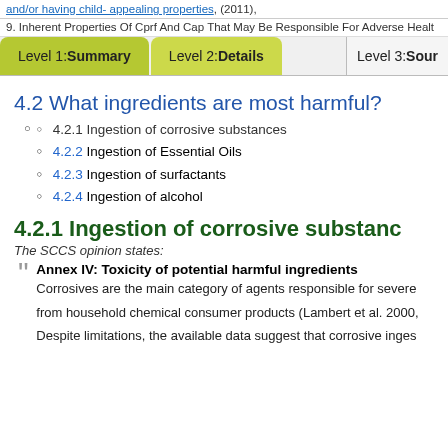and/or having child- appealing properties, (2011),
9. Inherent Properties Of Cprf And Cap That May Be Responsible For Adverse Healt
Level 1: Summary  Level 2: Details  Level 3: Sour
4.2 What ingredients are most harmful?
4.2.1 Ingestion of corrosive substances
4.2.2 Ingestion of Essential Oils
4.2.3 Ingestion of surfactants
4.2.4 Ingestion of alcohol
4.2.1 Ingestion of corrosive substanc
The SCCS opinion states:
Annex IV: Toxicity of potential harmful ingredients
Corrosives are the main category of agents responsible for severe from household chemical consumer products (Lambert et al. 2000,
Despite limitations, the available data suggest that corrosive inges